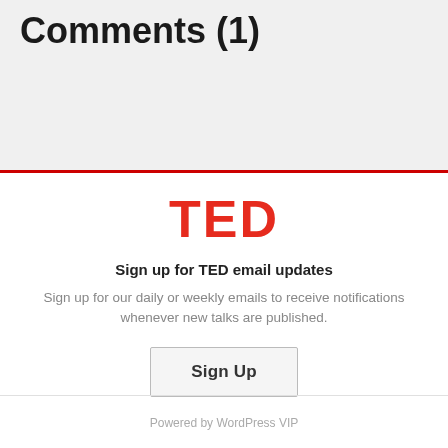Comments (1)
[Figure (logo): TED logo in bold red text]
Sign up for TED email updates
Sign up for our daily or weekly emails to receive notifications whenever new talks are published.
Sign Up
Powered by WordPress VIP